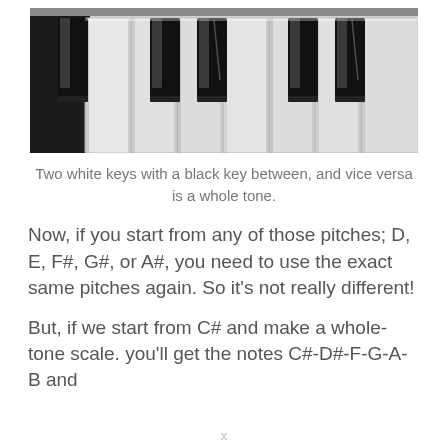[Figure (photo): Close-up photograph of piano keys, black and white keys viewed at an angle]
Two white keys with a black key between, and vice versa is a whole tone.
Now, if you start from any of those pitches; D, E, F#, G#, or A#, you need to use the exact same pitches again. So it's not really different!
But, if we start from C# and make a whole-tone scale. you'll get the notes C#-D#-F-G-A-B and
x